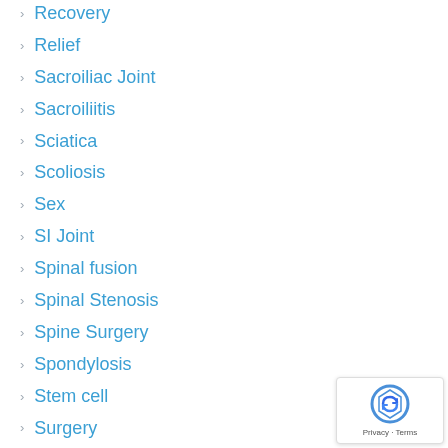Recovery
Relief
Sacroiliac Joint
Sacroiliitis
Sciatica
Scoliosis
Sex
SI Joint
Spinal fusion
Spinal Stenosis
Spine Surgery
Spondylosis
Stem cell
Surgery
Therapy
Thoracic
Treatment Options for Back Pain
Treatment problems
[Figure (logo): reCAPTCHA badge with Privacy and Terms links]